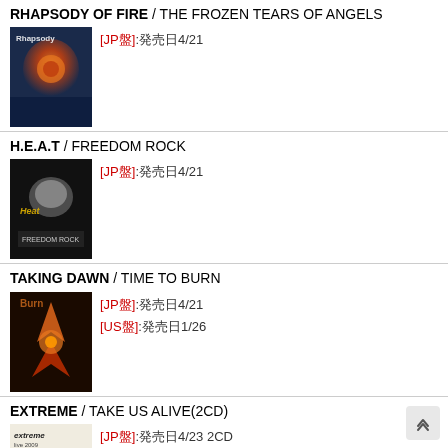RHAPSODY OF FIRE / THE FROZEN TEARS OF ANGELS
[Figure (photo): Album cover for Rhapsody of Fire - The Frozen Tears of Angels]
[JP盤]:発売日4/21
H.E.A.T / FREEDOM ROCK
[Figure (photo): Album cover for H.E.A.T - Freedom Rock]
[JP盤]:発売日4/21
TAKING DAWN / TIME TO BURN
[Figure (photo): Album cover for Taking Dawn - Time to Burn]
[JP盤]:発売日4/21
[US盤]:発売日1/26
EXTREME / TAKE US ALIVE(2CD)
[Figure (photo): Album cover for Extreme - Take Us Alive (2CD)]
[JP盤]:発売日4/23 2CD